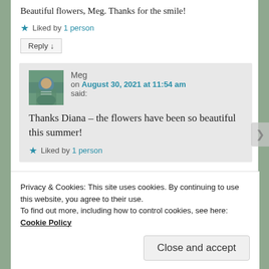Beautiful flowers, Meg. Thanks for the smile!
★ Liked by 1 person
Reply ↓
Meg on August 30, 2021 at 11:54 am said:
Thanks Diana – the flowers have been so beautiful this summer!
★ Liked by 1 person
Privacy & Cookies: This site uses cookies. By continuing to use this website, you agree to their use. To find out more, including how to control cookies, see here: Cookie Policy
Close and accept